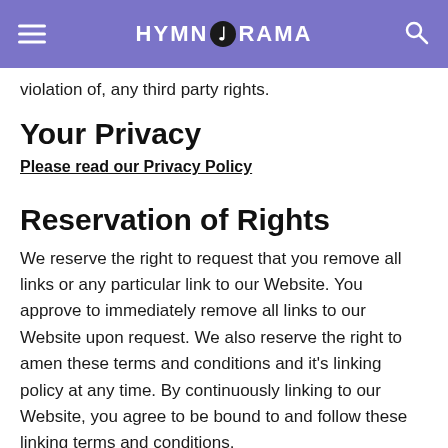HYMNORAMA
violation of, any third party rights.
Your Privacy
Please read our Privacy Policy
Reservation of Rights
We reserve the right to request that you remove all links or any particular link to our Website. You approve to immediately remove all links to our Website upon request. We also reserve the right to amen these terms and conditions and it's linking policy at any time. By continuously linking to our Website, you agree to be bound to and follow these linking terms and conditions.